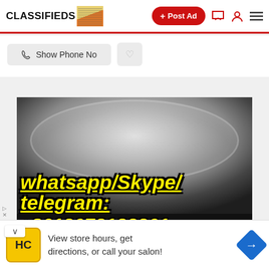CLASSIFIEDS + Post Ad
Show Phone No
[Figure (photo): Photo of white crystalline substance in a dish with yellow bold italic text overlay reading 'whatsapp/Skype/telegram:' and a partially visible phone number starting with +861207212...]
View store hours, get directions, or call your salon!